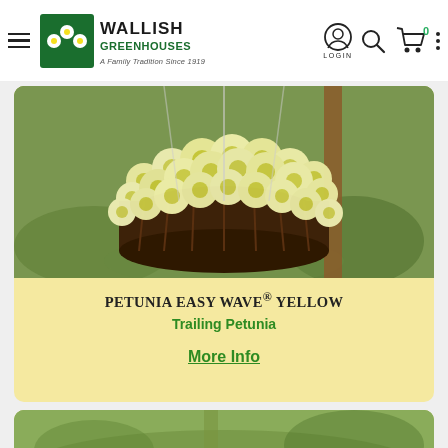Wallish Greenhouses — A Family Tradition Since 1919 | Login | Search | Cart (0)
[Figure (photo): Photo of Petunia Easy Wave Yellow flowers in a hanging wicker basket, showing dense yellow petunia blooms cascading over a dark brown wicker hanging basket, with green foliage background]
PETUNIA EASY WAVE® YELLOW
Trailing Petunia
More Info
[Figure (photo): Partial photo of a second plant product card at the bottom of the page, partially cut off]